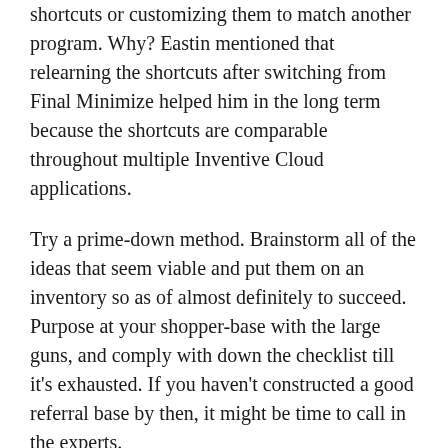shortcuts or customizing them to match another program. Why? Eastin mentioned that relearning the shortcuts after switching from Final Minimize helped him in the long term because the shortcuts are comparable throughout multiple Inventive Cloud applications.
Try a prime-down method. Brainstorm all of the ideas that seem viable and put them on an inventory so as of almost definitely to succeed. Purpose at your shopper-base with the large guns, and comply with down the checklist till it's exhausted. If you haven't constructed a good referral base by then, it might be time to call in the experts.
Apple Maps might not be your go-to map app, but iOS thirteen is designed to push users to that end. Apple Maps in iOS thirteen has been improved to include extra roads, beaches, buildings, and different details.